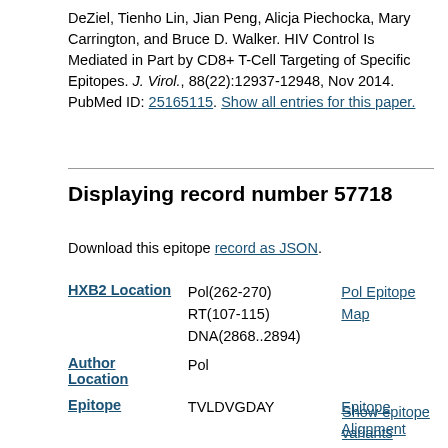DeZiel, Tienho Lin, Jian Peng, Alicja Piechocka, Mary Carrington, and Bruce D. Walker. HIV Control Is Mediated in Part by CD8+ T-Cell Targeting of Specific Epitopes. J. Virol., 88(22):12937-12948, Nov 2014. PubMed ID: 25165115. Show all entries for this paper.
Displaying record number 57718
Download this epitope record as JSON.
|  |  |  |
| --- | --- | --- |
| HXB2 Location | Pol(262-270)
RT(107-115)
DNA(2868..2894) | Pol Epitope Map |
| Author Location | Pol |  |
| Epitope | TVLDVGDAY | Epitope Alignment |
|  |  | Show epitope variants |